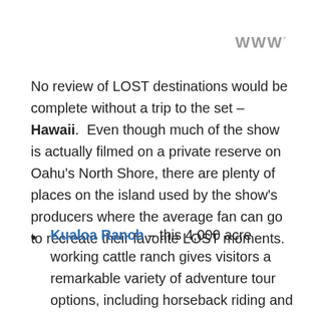W°
No review of LOST destinations would be complete without a trip to the set – Hawaii.  Even though much of the show is actually filmed on a private reserve on Oahu's North Shore, there are plenty of places on the island used by the show's producers where the average fan can go to recreate their favorite LOST moments.
Kualoa Ranch – this 4,000 acre working cattle ranch gives visitors a remarkable variety of adventure tour options, including horseback riding and ATV tours through the ranch's jaw...